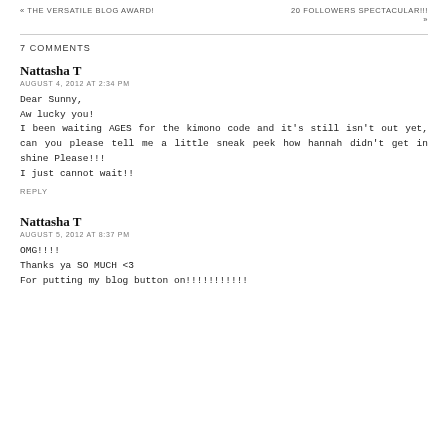« THE VERSATILE BLOG AWARD!    20 FOLLOWERS SPECTACULAR!!! »
7 COMMENTS
Nattasha T
AUGUST 4, 2012 AT 2:34 PM

Dear Sunny,
Aw lucky you!
I been waiting AGES for the kimono code and it's still isn't out yet, can you please tell me a little sneak peek how hannah didn't get in shine Please!!!
I just cannot wait!!
REPLY
Nattasha T
AUGUST 5, 2012 AT 8:37 PM

OMG!!!!
Thanks ya SO MUCH <3
For putting my blog button on!!!!!!!!!!!